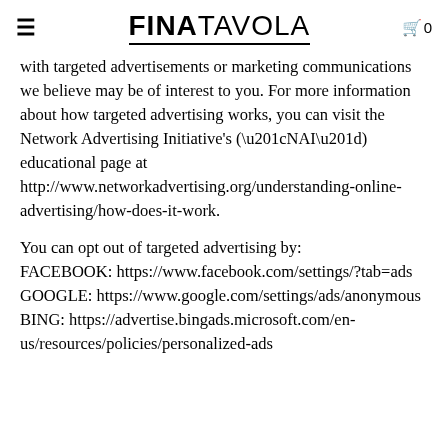FINATAVOLA
with targeted advertisements or marketing communications we believe may be of interest to you. For more information about how targeted advertising works, you can visit the Network Advertising Initiative's (“NAI”) educational page at http://www.networkadvertising.org/understanding-online-advertising/how-does-it-work.
You can opt out of targeted advertising by: FACEBOOK: https://www.facebook.com/settings/?tab=ads GOOGLE: https://www.google.com/settings/ads/anonymous BING: https://advertise.bingads.microsoft.com/en-us/resources/policies/personalized-ads